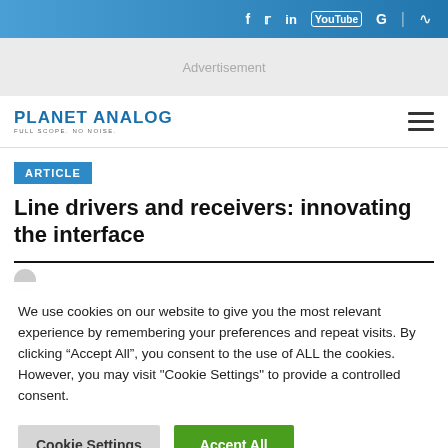f  y  in  YouTube  G  RSS
[Figure (logo): Planet Analog logo with tagline]
Advertisement
ARTICLE
Line drivers and receivers: innovating the interface
We use cookies on our website to give you the most relevant experience by remembering your preferences and repeat visits. By clicking "Accept All", you consent to the use of ALL the cookies. However, you may visit "Cookie Settings" to provide a controlled consent.
Cookie Settings   Accept All